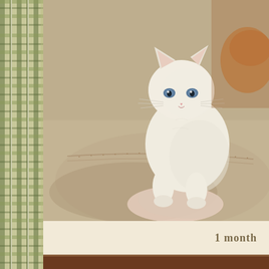[Figure (photo): A small white kitten with blue eyes standing on a beige/tan blanket or fabric, looking at the camera. The kitten appears very young.]
1 month